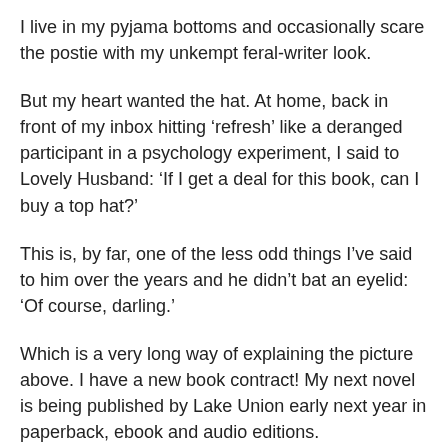I live in my pyjama bottoms and occasionally scare the postie with my unkempt feral-writer look.
But my heart wanted the hat. At home, back in front of my inbox hitting ‘refresh’ like a deranged participant in a psychology experiment, I said to Lovely Husband: ‘If I get a deal for this book, can I buy a top hat?’
This is, by far, one of the less odd things I’ve said to him over the years and he didn’t bat an eyelid: ‘Of course, darling.’
Which is a very long way of explaining the picture above. I have a new book contract! My next novel is being published by Lake Union early next year in paperback, ebook and audio editions. Meeeeeeeeep!
It’s a dual-narrative story set in a hospital in Brighton, with one strand in the present day and one in 1938. It’s part